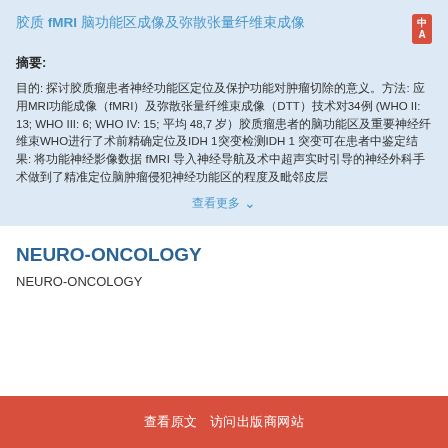胶质 fMRI 脑功能区成像及弥散张量纤维束成像
摘要:
目的: 探讨胶质瘤患者神经功能区定位及保护功能对肿瘤切除的意义。方法: 应用MRI功能成像（fMRI）及弥散张量纤维束成像（DTT）技术对34例（WHO II: 13; WHO III: 6; WHO IV: 15; 平均 48,7 岁）胶质瘤患者的脑功能区及重要神经纤维束WHO进行了术前精确定位及IDH 1突变检测IDH 1 突变可在患者中鉴定结果: 将功能神经影像数据 fMRI 导入神经导航及术中超声实时引导的神经外科手术做到了精准定位脑肿瘤侵犯神经功能区的程度及毗邻皮层
查看更多
NEURO-ONCOLOGY
NEURO-ONCOLOGY
查看原文 访问出版商网站